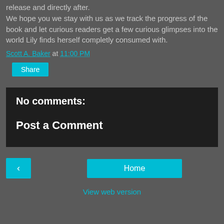release and directly after. We hope you we stay with us as we track the progress of the book and let curious readers get a few curious glimpses into the world Lily finds herself completly consumed with.
Scott A. Baker at 11:00 PM
Share
No comments:
Post a Comment
< Home
View web version